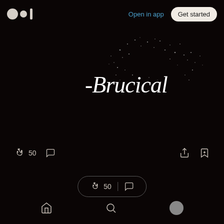[Figure (logo): Medium logo: two circles and a vertical bar in off-white]
Open in app
Get started
[Figure (illustration): Handwritten cursive script '-Brucical' in white on dark background with scattered light particles/sparkles effect]
[Figure (infographic): Article action bar with clap icon, count '50', comment bubble icon on left; share and bookmark-plus icons on right]
[Figure (infographic): Pill-shaped button with clap icon, '50', divider, and comment bubble icon]
[Figure (infographic): Bottom navigation bar with home icon, search icon, and user avatar circle]